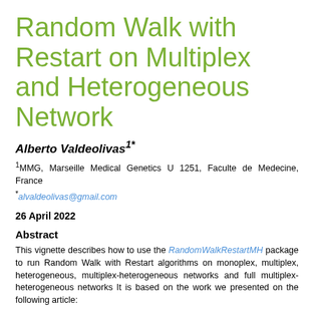Random Walk with Restart on Multiplex and Heterogeneous Network
Alberto Valdeolivas1*
1MMG, Marseille Medical Genetics U 1251, Faculte de Medecine, France
*alvaldeolivas@gmail.com
26 April 2022
Abstract
This vignette describes how to use the RandomWalkRestartMH package to run Random Walk with Restart algorithms on monoplex, multiplex, heterogeneous, multiplex-heterogeneous networks and full multiplex-heterogeneous networks It is based on the work we presented on the following article: